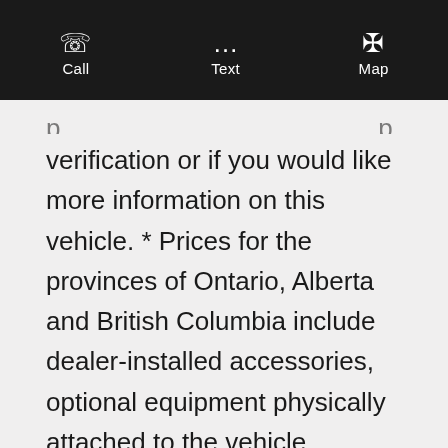Call  Text  Map
verification or if you would like more information on this vehicle. * Prices for the provinces of Ontario, Alberta and British Columbia include dealer-installed accessories, optional equipment physically attached to the vehicle, transportation charges and any applicable administration fees, but do not include taxes, insurance or licensing fees. For all other provinces (excluding Quebec), prices exclude taxes, insurance, licensing and other applicable fees. Price may not include dealer installed options, accessories, administration fees and other applicable fees. * Alberta prices